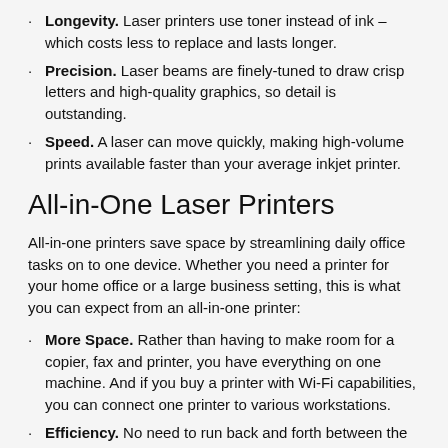Longevity. Laser printers use toner instead of ink – which costs less to replace and lasts longer.
Precision. Laser beams are finely-tuned to draw crisp letters and high-quality graphics, so detail is outstanding.
Speed. A laser can move quickly, making high-volume prints available faster than your average inkjet printer.
All-in-One Laser Printers
All-in-one printers save space by streamlining daily office tasks on to one device. Whether you need a printer for your home office or a large business setting, this is what you can expect from an all-in-one printer:
More Space. Rather than having to make room for a copier, fax and printer, you have everything on one machine. And if you buy a printer with Wi-Fi capabilities, you can connect one printer to various workstations.
Efficiency. No need to run back and forth between the scanner and your computer to send an email. You can scan and send a